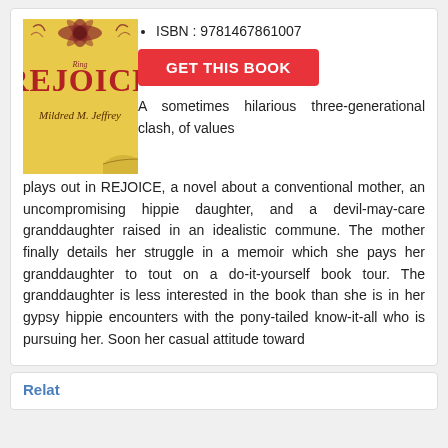[Figure (illustration): Book cover of REJOICE by Mildred M. Jeffrey, with a gold/yellow background, dark red ornamental flower at top, large red text REJOICE, and author name in dark cursive below]
ISBN : 9781467861007
GET THIS BOOK
A sometimes hilarious three-generational clash, of values plays out in REJOICE, a novel about a conventional mother, an uncompromising hippie daughter, and a devil-may-care granddaughter raised in an idealistic commune. The mother finally details her struggle in a memoir which she pays her granddaughter to tout on a do-it-yourself book tour. The granddaughter is less interested in the book than she is in her gypsy hippie encounters with the pony-tailed know-it-all who is pursuing her. Soon her casual attitude toward
Relat…